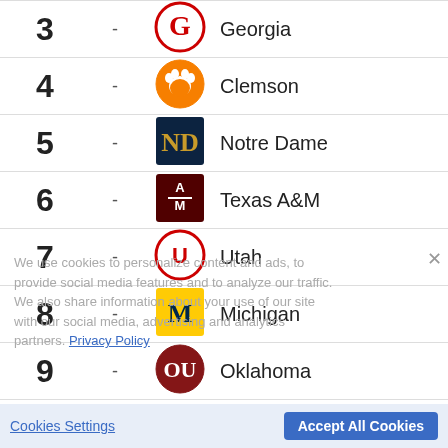| Rank | Change | Logo | Team |
| --- | --- | --- | --- |
| 3 | - | Georgia logo | Georgia |
| 4 | - | Clemson logo | Clemson |
| 5 | - | Notre Dame logo | Notre Dame |
| 6 | - | Texas A&M logo | Texas A&M |
| 7 | - | Utah logo | Utah |
| 8 | - | Michigan logo | Michigan |
| 9 | - | Oklahoma logo | Oklahoma |
| 10 | - | Baylor logo | Baylor |